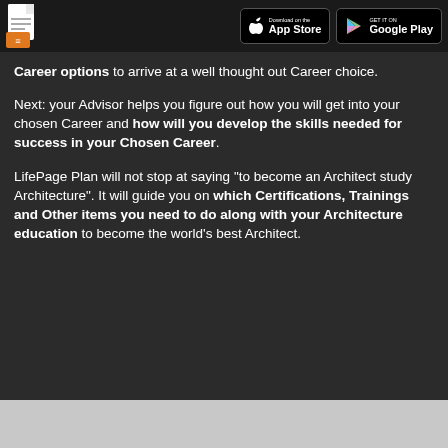[Figure (screenshot): Header bar with document icon on left, App Store and Google Play download badges on right, on dark background]
Career options to arrive at a well thought out Career choice.
Next: your Advisor helps you figure out how you will get into your chosen Career and how will you develop the skills needed for success in your Chosen Career.
LifePage Plan will not stop at saying "to become an Architect study Architecture". It will guide you on which Certifications, Trainings and Other items you need to do along with your Architecture education to become the world's best Architect.